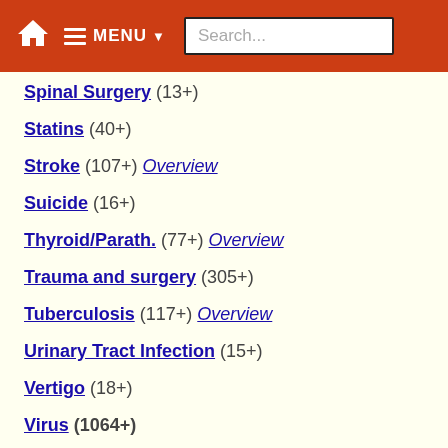MENU Search...
Spinal Surgery (13+)
Statins (40+)
Stroke (107+) Overview
Suicide (16+)
Thyroid/Parath. (77+) Overview
Trauma and surgery (305+)
Tuberculosis (117+) Overview
Urinary Tract Infection (15+)
Vertigo (18+)
Virus (1064+)
Vision (84+)
People and Low Vitamin D